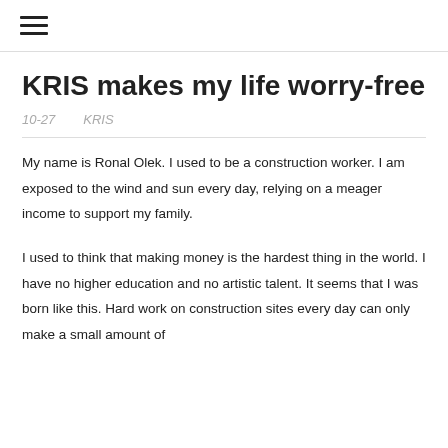☰
KRIS makes my life worry-free
10-27   KRIS
My name is Ronal Olek. I used to be a construction worker. I am exposed to the wind and sun every day, relying on a meager income to support my family.
I used to think that making money is the hardest thing in the world. I have no higher education and no artistic talent. It seems that I was born like this. Hard work on construction sites every day can only make a small amount of